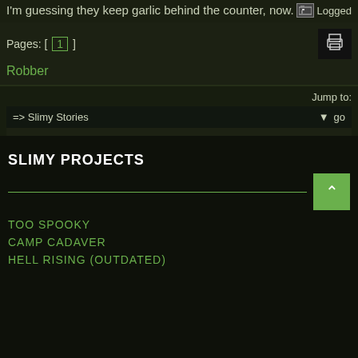I'm guessing they keep garlic behind the counter, now.
Logged
Pages: [ 1 ]
Robber
Jump to:
=> Slimy Stories
go
SLIMY PROJECTS
TOO SPOOKY
CAMP CADAVER
HELL RISING (OUTDATED)